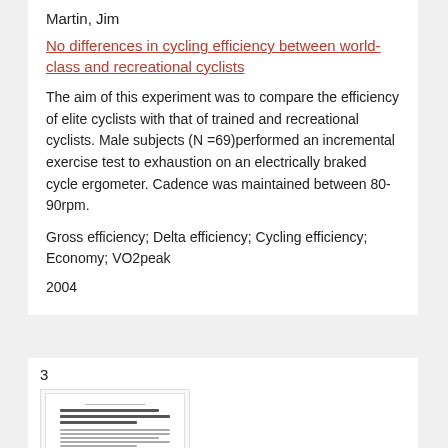Martin, Jim
No differences in cycling efficiency between world-class and recreational cyclists
The aim of this experiment was to compare the efficiency of elite cyclists with that of trained and recreational cyclists. Male subjects (N =69)performed an incremental exercise test to exhaustion on an electrically braked cycle ergometer. Cadence was maintained between 80-90rpm.
Gross efficiency; Delta efficiency; Cycling efficiency; Economy; VO2peak
2004
3
[Figure (screenshot): Thumbnail preview of a document page showing a scientific article with title and abstract text.]